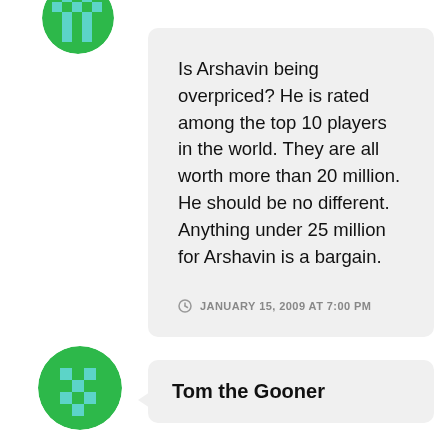[Figure (illustration): Partially visible circular avatar with green and teal pixel/pattern design, cropped at top of page]
Is Arshavin being overpriced? He is rated among the top 10 players in the world. They are all worth more than 20 million. He should be no different. Anything under 25 million for Arshavin is a bargain.
JANUARY 15, 2009 AT 7:00 PM
[Figure (illustration): Circular avatar with green background and pixel/cross pattern design]
Tom the Gooner